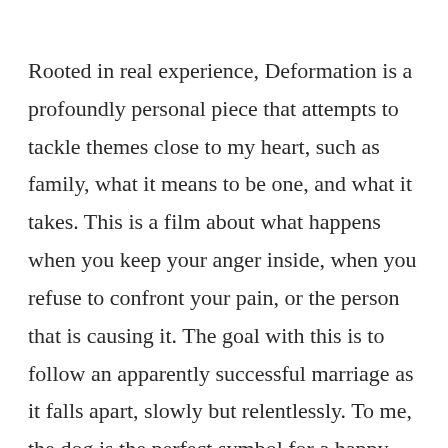Rooted in real experience, Deformation is a profoundly personal piece that attempts to tackle themes close to my heart, such as family, what it means to be one, and what it takes. This is a film about what happens when you keep your anger inside, when you refuse to confront your pain, or the person that is causing it. The goal with this is to follow an apparently successful marriage as it falls apart, slowly but relentlessly. To me, the dog is the perfect symbol for a happy family and, without spoiling anything, what happens to it complements this theme in a powerful